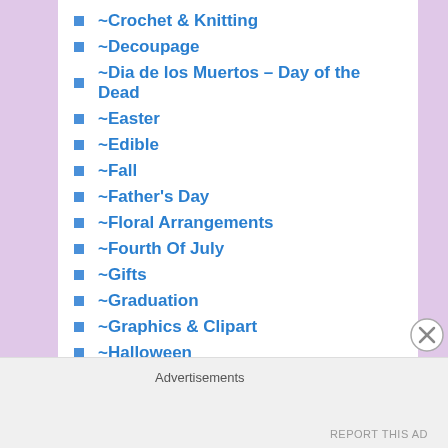~Crochet & Knitting
~Decoupage
~Dia de los Muertos – Day of the Dead
~Easter
~Edible
~Fall
~Father's Day
~Floral Arrangements
~Fourth Of July
~Gifts
~Graduation
~Graphics & Clipart
~Halloween
~Hanukkah
~Home
~Kwanzaa
~Memorial Day
Advertisements
REPORT THIS AD